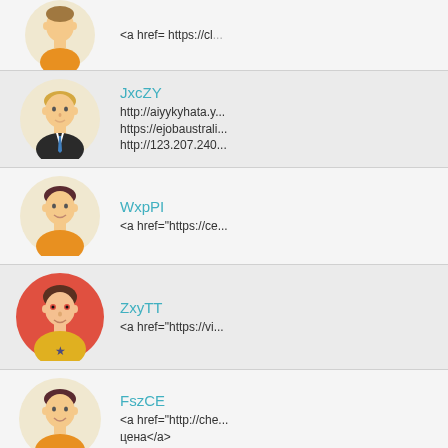(partial/cropped) <a href= https://cl...
JxcZY
http://aiyykyhata.y...
https://ejobaustrali...
http://123.207.240...
WxpPI
<a href="https://ce...
ZxyTT
<a href="https://vi...
FszCE
<a href="http://che...
цена</a>
GpaCT
http://www.junmi3...